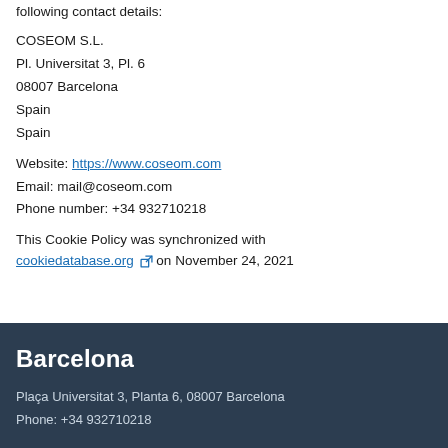following contact details:
COSEOM S.L.
Pl. Universitat 3, Pl. 6
08007 Barcelona
Spain
Spain
Website: https://www.coseom.com
Email: mail@coseom.com
Phone number: +34 932710218
This Cookie Policy was synchronized with cookiedatabase.org on November 24, 2021
Barcelona
Plaça Universitat 3, Planta 6, 08007 Barcelona
Phone: +34 932710218